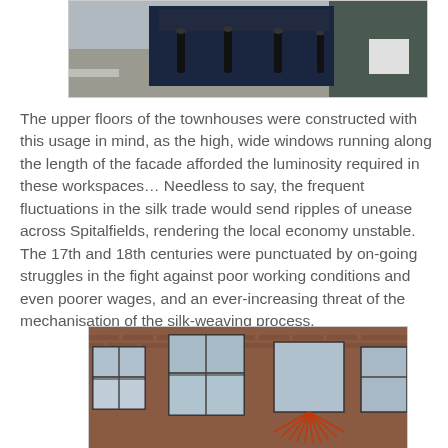[Figure (photo): Street-level photo showing bollards on a pavement in front of dark-painted shopfronts and a building facade]
The upper floors of the townhouses were constructed with this usage in mind, as the high, wide windows running along the length of the facade afforded the luminosity required in these workspaces… Needless to say, the frequent fluctuations in the silk trade would send ripples of unease across Spitalfields, rendering the local economy unstable. The 17th and 18th centuries were punctuated by on-going struggles in the fight against poor working conditions and even poorer wages, and an ever-increasing threat of the mechanisation of the silk-weaving process.
[Figure (photo): Photo of a brick building facade showing large sash windows and decorative brickwork typical of Spitalfields weavers' housing]